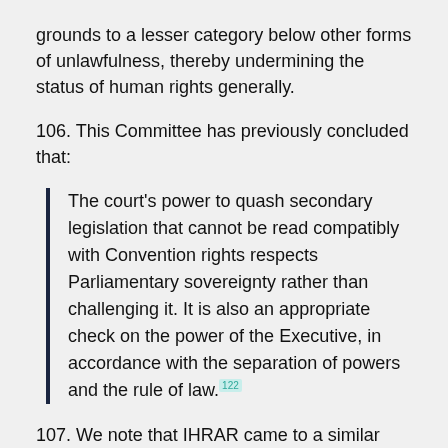grounds to a lesser category below other forms of unlawfulness, thereby undermining the status of human rights generally.
106. This Committee has previously concluded that:
The court's power to quash secondary legislation that cannot be read compatibly with Convention rights respects Parliamentary sovereignty rather than challenging it. It is also an appropriate check on the power of the Executive, in accordance with the separation of powers and the rule of law.[122]
107. We note that IHRAR came to a similar view in their report.[123] We...